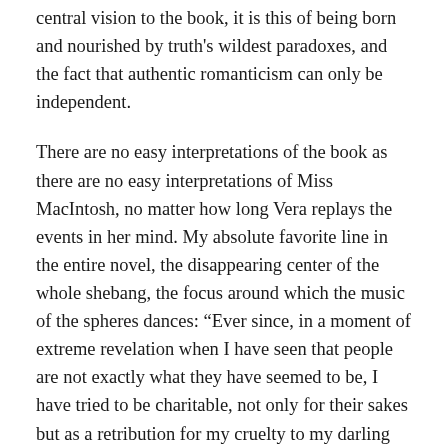central vision to the book, it is this of being born and nourished by truth's wildest paradoxes, and the fact that authentic romanticism can only be independent.
There are no easy interpretations of the book as there are no easy interpretations of Miss MacIntosh, no matter how long Vera replays the events in her mind. My absolute favorite line in the entire novel, the disappearing center of the whole shebang, the focus around which the music of the spheres dances: “Ever since, in a moment of extreme revelation when I have seen that people are not exactly what they have seemed to be, I have tried to be charitable, not only for their sakes but as a retribution for my cruelty to my darling who had seemed so very plain. For I had been cruel to her, and I had discovered her essential baldness.”
...